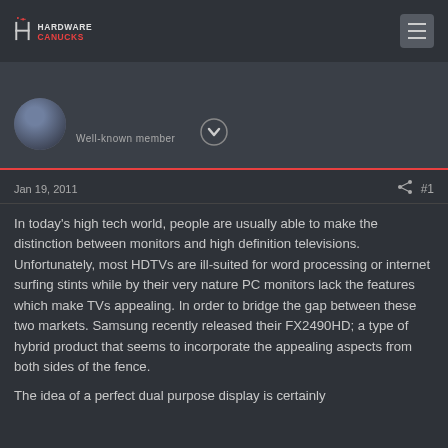[Figure (logo): Hardware Canucks logo with HC icon and text]
Well-known member
Jan 19, 2011   #1
In today's high tech world, people are usually able to make the distinction between monitors and high definition televisions. Unfortunately, most HDTVs are ill-suited for word processing or internet surfing stints while by their very nature PC monitors lack the features which make TVs appealing. In order to bridge the gap between these two markets. Samsung recently released their FX2490HD; a type of hybrid product that seems to incorporate the appealing aspects from both sides of the fence.
The idea of a perfect dual purpose display is certainly